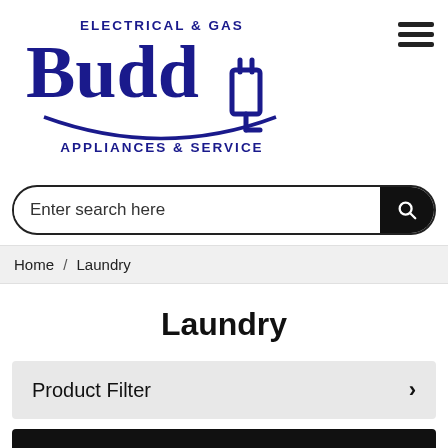[Figure (logo): Budd Electrical & Gas Appliances & Service logo in dark blue with electric plug icon]
Enter search here
Home / Laundry
Laundry
Product Filter
Featured Laundry